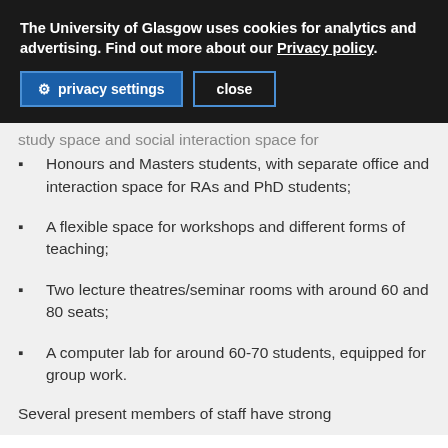The University of Glasgow uses cookies for analytics and advertising. Find out more about our Privacy policy.
privacy settings   close
study space and social interaction space for Honours and Masters students, with separate office and interaction space for RAs and PhD students;
A flexible space for workshops and different forms of teaching;
Two lecture theatres/seminar rooms with around 60 and 80 seats;
A computer lab for around 60-70 students, equipped for group work.
Several present members of staff have strong